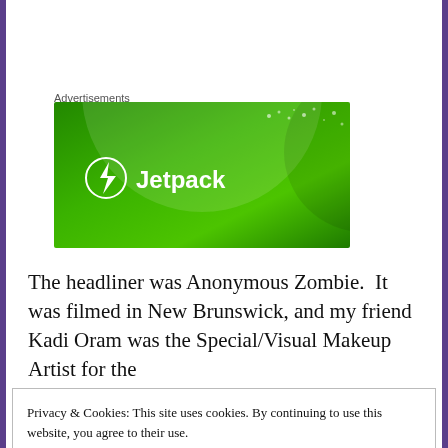Advertisements
[Figure (logo): Jetpack advertisement banner — green gradient background with circular overlays, white Jetpack logo with lightning bolt icon and text 'Jetpack']
The headliner was Anonymous Zombie.  It was filmed in New Brunswick, and my friend Kadi Oram was the Special/Visual Makeup Artist for the movie. I was asked to attend the premiere screening
Privacy & Cookies: This site uses cookies. By continuing to use this website, you agree to their use.
To find out more, including how to control cookies, see here: Cookie Policy
time I was at the festival or any official movie